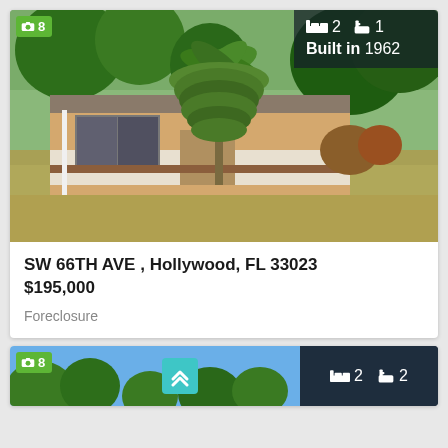[Figure (photo): Exterior photo of a single-story residential house with palm trees and lawn in front. White sign post visible on left. Green vegetation/trees in foreground and background.]
SW 66TH AVE , Hollywood, FL 33023
$195,000
Foreclosure
[Figure (photo): Partial view of a second property listing card showing trees against blue sky, with a teal chevron button overlay and dark panel showing 2 beds, 2 baths.]